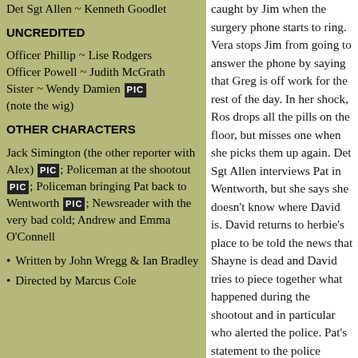Det Sgt Allen ~ Kenneth Goodlet
UNCREDITED
Officer Phillip ~ Lise Rodgers
Officer Powell ~ Judith McGrath
Sister ~ Wendy Damien [PIC]
(note the wig)
OTHER CHARACTERS
Jack Simington (the other reporter with Alex) [PIC]; Policeman at the shootout [PIC]; Policeman bringing Pat back to Wentworth [PIC]; Newsreader with the very bad cold; Andrew and Emma O'Connell
Written by John Wregg & Ian Bradley
Directed by Marcus Cole
caught by Jim when the surgery phone starts to ring. Vera stops Jim from going to answer the phone by saying that Greg is off work for the rest of the day. In her shock, Ros drops all the pills on the floor, but misses one when she picks them up again. Det Sgt Allen interviews Pat in Wentworth, but she says she doesn't know where David is. David returns to herbie's place to be told the news that Shayne is dead and David tries to piece together what happened during the shootout and in particular who alerted the police. Pat's statement to the police doesn't mention Greg's presence at the shootout. Lizzie comes to the surgery for a hangover cure, but drops the pills Greg gives her. Helping her to pick them up he notices the extra capsule and realises other drugs have been